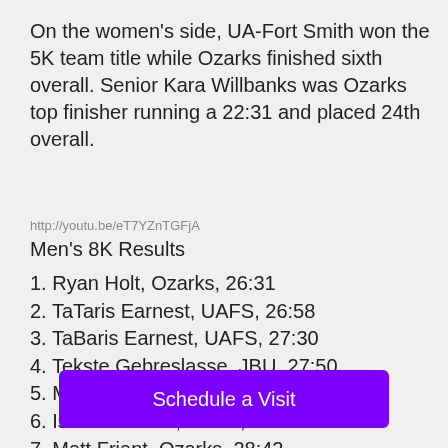On the women's side, UA-Fort Smith won the 5K team title while Ozarks finished sixth overall. Senior Kara Willbanks was Ozarks top finisher running a 22:31 and placed 24th overall.
http://youtu.be/eT7YZnTGFjA
Men's 8K Results
1. Ryan Holt, Ozarks, 26:31
2. TaTaris Earnest, UAFS, 26:58
3. TaBaris Earnest, UAFS, 27:30
4. Tekste Gebreslasse, JBU, 27:50
5. Marcos Guteirrez, JBU, 27:53
6. Isai Carranzia, UAFS, 28:15
7. Matt Friant, Ozarks, 28:42
8. Ian Brecht, U[obscured]
9. Mariano Mendez, UAFS, 29:07
Schedule a Visit